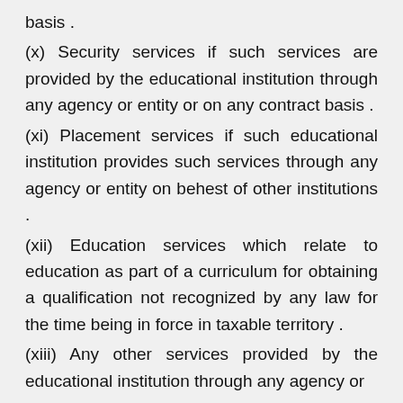basis .
(x)  Security services if such services are provided by the educational institution through any agency or entity or on any contract basis .
(xi)  Placement services if such educational institution provides such services through any agency or entity on behest of other institutions .
(xii)  Education services which relate to education as part of a curriculum for obtaining a qualification not recognized by any law for the time being in force in taxable territory .
(xiii)  Any other services provided by the educational institution through any agency or